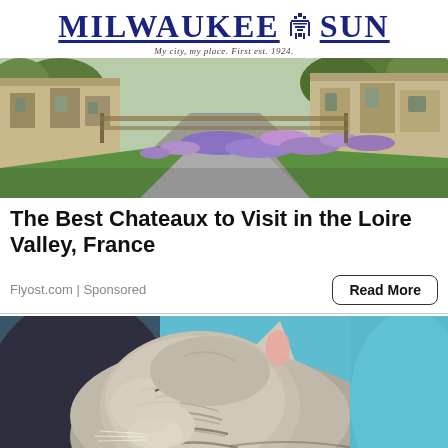MILWAUKEE SUN — My city, my place. First est. 1924.
[Figure (photo): Exterior view of a French chateau with a long driveway, green lawn, and purple flower garden beds]
The Best Chateaux to Visit in the Loire Valley, France
Flyost.com | Sponsored
Read More
[Figure (photo): Close-up photo of a sleeping cat with gray and white fur, lying curled up against a blue background]